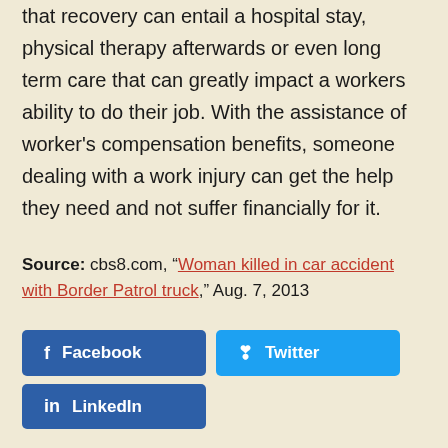that recovery can entail a hospital stay, physical therapy afterwards or even long term care that can greatly impact a workers ability to do their job. With the assistance of worker's compensation benefits, someone dealing with a work injury can get the help they need and not suffer financially for it.
Source: cbs8.com, "Woman killed in car accident with Border Patrol truck," Aug. 7, 2013